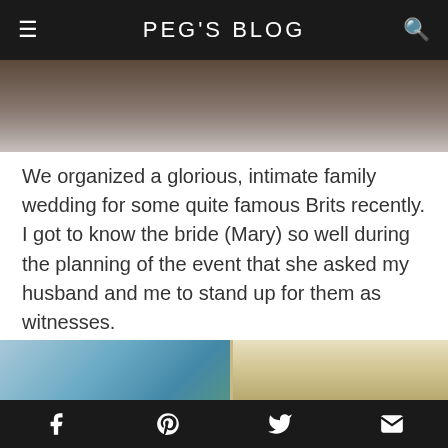PEG'S BLOG
[Figure (photo): Partially visible photo at top of page, appearing to show an outdoor scene with dark tones]
We organized a glorious, intimate family wedding for some quite famous Brits recently. I got to know the bride (Mary) so well during the planning of the event that she asked my husband and me to stand up for them as witnesses.
[Figure (photo): Photo of an elegant interior room with blue curved wall, windows with blue drapes, palm plants, and people partially visible at bottom]
Social share icons: Facebook, Pinterest, Twitter, Email